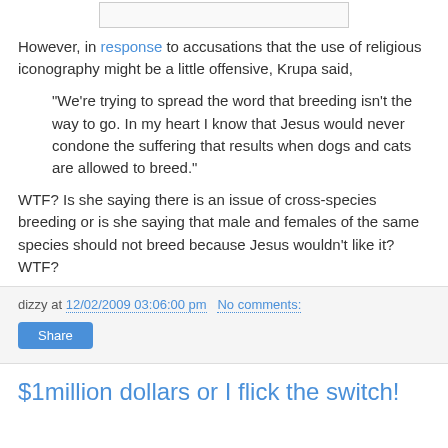[Figure (other): Partial image stub at top of page, white/light gray rectangle with border]
However, in response to accusations that the use of religious iconography might be a little offensive, Krupa said,
"We're trying to spread the word that breeding isn't the way to go. In my heart I know that Jesus would never condone the suffering that results when dogs and cats are allowed to breed."
WTF? Is she saying there is an issue of cross-species breeding or is she saying that male and females of the same species should not breed because Jesus wouldn't like it? WTF?
dizzy at 12/02/2009 03:06:00 pm   No comments:
Share
$1million dollars or I flick the switch!